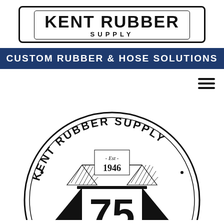[Figure (logo): Kent Rubber Supply logo: text 'KENT RUBBER' large bold, 'SUPPLY' smaller spaced, inside double rounded rectangle border]
CUSTOM RUBBER & HOSE SOLUTIONS
[Figure (logo): Kent Rubber Supply circular emblem with 'KENT RUBBER SUPPLY' around the top arc, 'Est 1946' in center, large '75' numeral below, decorative hatched triangles, established 1946 anniversary logo]